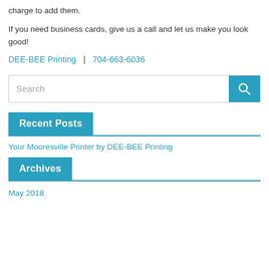charge to add them.
If you need business cards, give us a call and let us make you look good!
DEE-BEE Printing  |  704-663-6036
[Figure (other): Search input box with blue search button containing a magnifying glass icon]
Recent Posts
Your Mooresville Printer by DEE-BEE Printing
Archives
May 2018